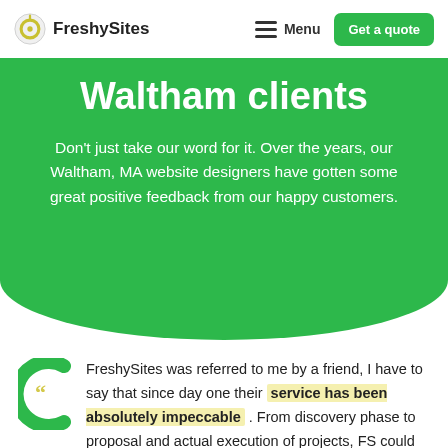FreshySites | Menu | Get a quote
Waltham clients
Don't just take our word for it. Over the years, our Waltham, MA website designers have gotten some great positive feedback from our happy customers.
FreshySites was referred to me by a friend, I have to say that since day one their service has been absolutely impeccable . From discovery phase to proposal and actual execution of projects, FS could not